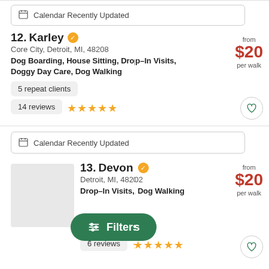Calendar Recently Updated
12. Karley — Core City, Detroit, MI, 48208 — Dog Boarding, House Sitting, Drop-In Visits, Doggy Day Care, Dog Walking — from $20 per walk — 5 repeat clients — 14 reviews ★★★★★
Calendar Recently Updated
13. Devon — Detroit, MI, 48202 — Drop-In Visits, Dog Walking — from $20 per walk — 2 repeat clients — 6 reviews ★★★★★
Filters